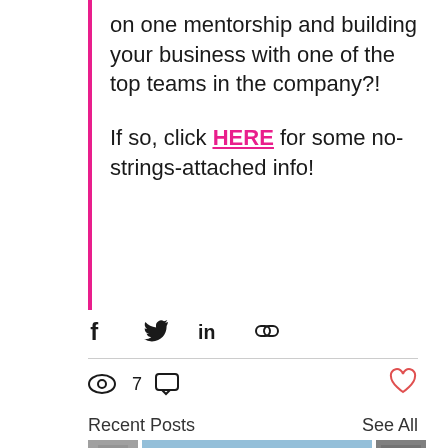on one mentorship and building your business with one of the top teams in the company?!
If so, click HERE for some no-strings-attached info!
[Figure (infographic): Social share icons: Facebook, Twitter, LinkedIn, link/chain icon]
7 views, comment icon, heart/like icon
Recent Posts
See All
[Figure (photo): Row of thumbnail images for recent posts]